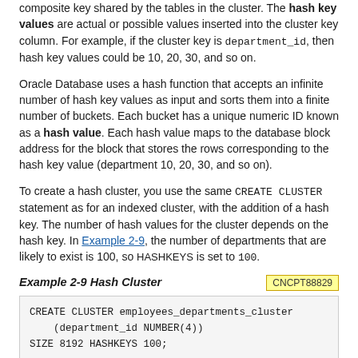composite key shared by the tables in the cluster. The hash key values are actual or possible values inserted into the cluster key column. For example, if the cluster key is department_id, then hash key values could be 10, 20, 30, and so on.
Oracle Database uses a hash function that accepts an infinite number of hash key values as input and sorts them into a finite number of buckets. Each bucket has a unique numeric ID known as a hash value. Each hash value maps to the database block address for the block that stores the rows corresponding to the hash key value (department 10, 20, 30, and so on).
To create a hash cluster, you use the same CREATE CLUSTER statement as for an indexed cluster, with the addition of a hash key. The number of hash values for the cluster depends on the hash key. In Example 2-9, the number of departments that are likely to exist is 100, so HASHKEYS is set to 100.
Example 2-9 Hash Cluster
[Figure (other): Badge label: CNCPT88829]
CREATE CLUSTER employees_departments_cluster
    (department_id NUMBER(4))
SIZE 8192 HASHKEYS 100;
After you create employees_departments_cluster, you can create the